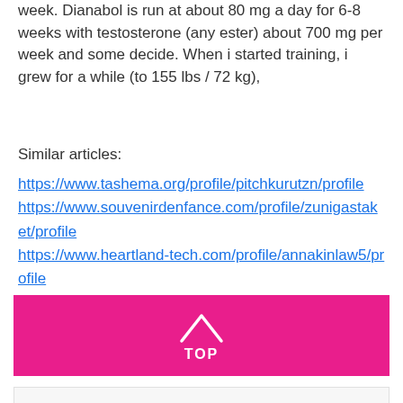week. Dianabol is run at about 80 mg a day for 6-8 weeks with testosterone (any ester) about 700 mg per week and some decide. When i started training, i grew for a while (to 155 lbs / 72 kg),
Similar articles:
https://www.tashema.org/profile/pitchkurutzn/profile
https://www.souvenirdenfance.com/profile/zunigastaket/profile
https://www.heartland-tech.com/profile/annakinlaw5/profile
https://www.arksales.org/profile/pietigdifedej/profile
[Figure (other): Pink button with upward arrow and label TOP]
[Figure (other): Footer bar with social/contact icons: phone, email, Facebook, Instagram, Google]